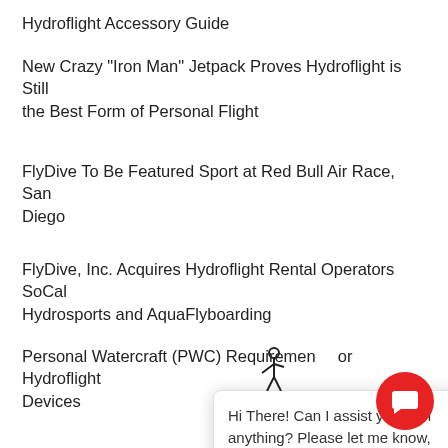Hydroflight Accessory Guide
New Crazy "Iron Man" Jetpack Proves Hydroflight is Still the Best Form of Personal Flight
FlyDive To Be Featured Sport at Red Bull Air Race, San Diego
FlyDive, Inc. Acquires Hydroflight Rental Operators SoCal Hydrosports and AquaFlyboarding
Personal Watercraft (PWC) Requirements for Hydroflight Devices
"How Hydroflight Works
FlyDive Athlete, Lead En
Jetpack America Featured Live on CW6 in San Diego
Hydroflight Device Comparison – Flyboard vs Jetbl… X-Board vs Jetdeck
FlyDive Acquires Another Hydroflight Industry
Hi There! Can I assist you with anything? Please let me know, I'm happy to help. :)